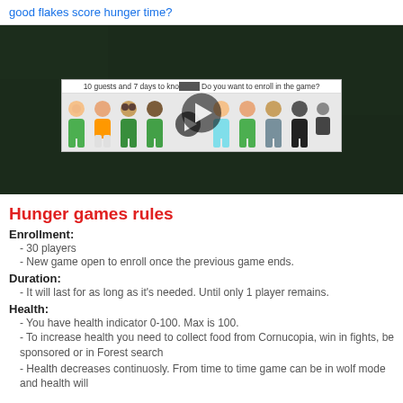good flakes score hunger time?
[Figure (screenshot): Video thumbnail showing a game interface with cartoon avatars and a play button. Text reads: '10 guests and 7 days to kno[w]... Do you want to enroll in the game?']
Hunger games rules
Enrollment:
- 30 players
- New game open to enroll once the previous game ends.
Duration:
- It will last for as long as it's needed. Until only 1 player remains.
Health:
- You have health indicator 0-100. Max is 100.
- To increase health you need to collect food from Cornucopia, win in fights, be sponsored or in Forest search
- Health decreases continuosly. From time to time game can be in wolf mode and health will